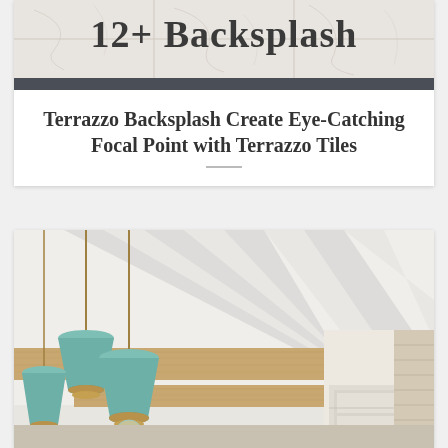[Figure (illustration): Top banner showing '12+ Backsplash' text on a decorative tiled/marble background with a dark charcoal bar below]
Terrazzo Backsplash Create Eye-Catching Focal Point with Terrazzo Tiles
[Figure (photo): Interior photo of a kitchen or dining room showing a coffered/beamed white ceiling with exposed wood beams, mint/sage green pendant lights, and white cabinetry visible in background]